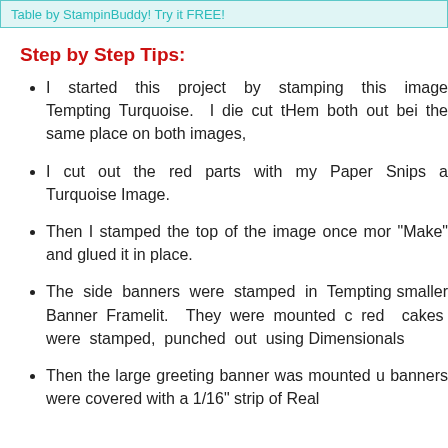Table by StampinBuddy! Try it FREE!
Step by Step Tips:
I started this project by stamping this image Tempting Turquoise. I die cut tHem both out bei the same place on both images,
I cut out the red parts with my Paper Snips a Turquoise Image.
Then I stamped the top of the image once mor "Make" and glued it in place.
The side banners were stamped in Tempting smaller Banner Framelit. They were mounted c red cakes were stamped, punched out using Dimensionals
Then the large greeting banner was mounted u banners were covered with a 1/16" strip of Real